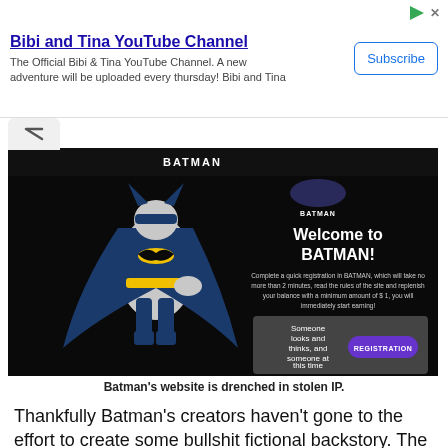[Figure (screenshot): Advertisement banner for Bibi and Tina YouTube Channel with Subscribe button]
[Figure (screenshot): Screenshot of BATMAN website showing Batman character, Welcome to BATMAN text, registration prompt, and a grey box with 'Someone looks and thinks, and someone at this time already earns!' text alongside a purple REGISTRATION button. Site header shows 'BATMAN' in white text on black background.]
Batman's website is drenched in stolen IP.
Thankfully Batman’s creators haven’t gone to the effort to create some bullshit fictional backstory. The Batman Ponzi scheme is presented as is, because… y’know, whatever.